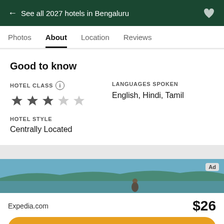← See all 2027 hotels in Bengaluru
Photos | About | Location | Reviews
Good to know
HOTEL CLASS ⓘ — 3 stars out of 5
LANGUAGES SPOKEN — English, Hindi, Tamil
HOTEL STYLE — Centrally Located
[Figure (screenshot): Ad banner with lakeside scenic image of water and distant hills, with a person visible, and an 'Ad' badge in top right corner]
Expedia.com   $26
View deal